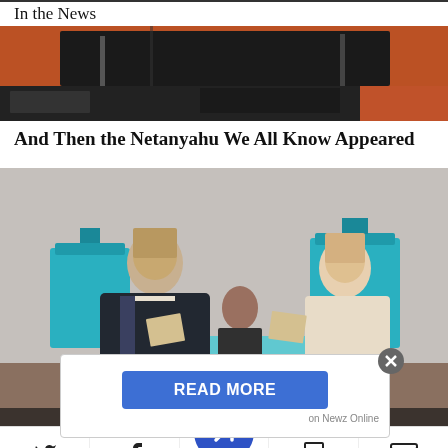In the News
[Figure (photo): Blurred/dark photo of a stage or event, partially visible, at the top of the article]
And Then the Netanyahu We All Know Appeared
[Figure (photo): Photo of Benjamin Netanyahu and his wife Sara voting at a polling station, with election workers visible behind a desk with teal ballot boxes]
READ MORE
on Newz Online